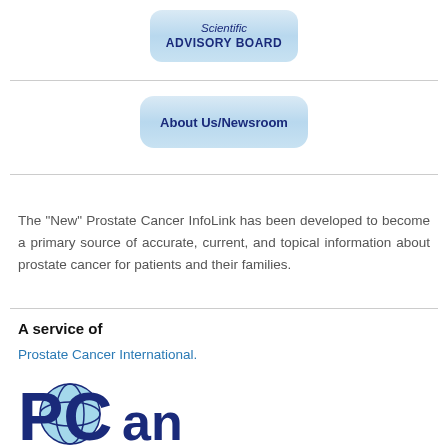[Figure (other): Blue gradient rounded button labeled 'Scientific ADVISORY BOARD']
[Figure (other): Blue gradient rounded button labeled 'About Us/Newsroom']
The "New" Prostate Cancer InfoLink has been developed to become a primary source of accurate, current, and topical information about prostate cancer for patients and their families.
A service of
Prostate Cancer International.
[Figure (logo): PCan (Prostate Cancer International) logo — large dark blue letters with globe icon]